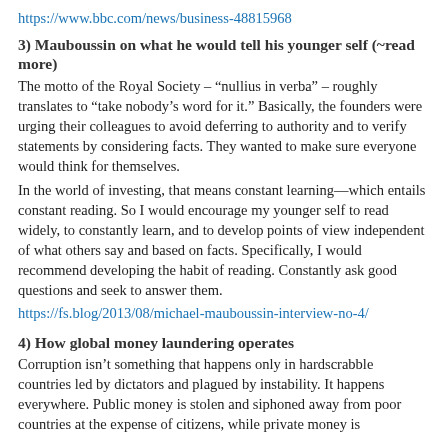https://www.bbc.com/news/business-48815968
3) Mauboussin on what he would tell his younger self (~read more)
The motto of the Royal Society – “nullius in verba” – roughly translates to “take nobody’s word for it.” Basically, the founders were urging their colleagues to avoid deferring to authority and to verify statements by considering facts. They wanted to make sure everyone would think for themselves.
In the world of investing, that means constant learning—which entails constant reading. So I would encourage my younger self to read widely, to constantly learn, and to develop points of view independent of what others say and based on facts. Specifically, I would recommend developing the habit of reading. Constantly ask good questions and seek to answer them.
https://fs.blog/2013/08/michael-mauboussin-interview-no-4/
4) How global money laundering operates
Corruption isn’t something that happens only in hardscrabble countries led by dictators and plagued by instability. It happens everywhere. Public money is stolen and siphoned away from poor countries at the expense of citizens, while private money is